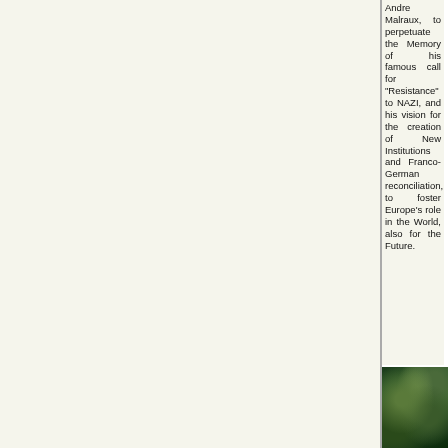Andre Malraux, to perpetuate the Memory of his famous call for "Resistance" to NAZI, and his vision for the creation of New Institutions and Franco-German reconciliation, to foster Europe's role in the World, also for the Future.
[Figure (photo): Dark green outdoor photo, possibly foliage or garden scene]